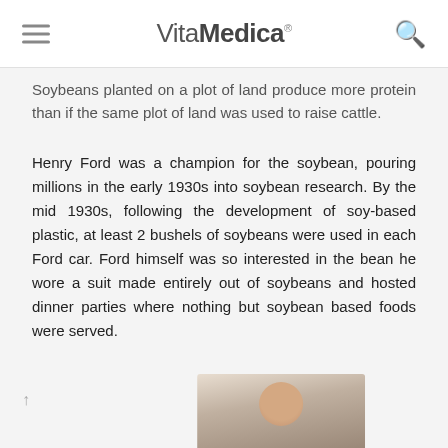VitaMedica®
Soybeans planted on a plot of land produce more protein than if the same plot of land was used to raise cattle.
Henry Ford was a champion for the soybean, pouring millions in the early 1930s into soybean research. By the mid 1930s, following the development of soy-based plastic, at least 2 bushels of soybeans were used in each Ford car. Ford himself was so interested in the bean he wore a suit made entirely out of soybeans and hosted dinner parties where nothing but soybean based foods were served.
[Figure (photo): Photo of a man (partially visible at bottom of page)]